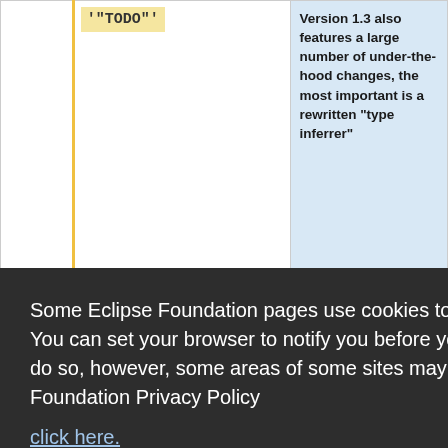|  |  |  |
| --- | --- | --- |
|  | '"TODO"' | Version 1.3 also features a large number of under-the-hood changes, the most important is a rewritten "type inferrer" |
|  |  | search. A number of |
Some Eclipse Foundation pages use cookies to better serve you when you return to the site. You can set your browser to notify you before you receive a cookie or turn off cookies. If you do so, however, some areas of some sites may not function properly. To read Eclipse Foundation Privacy Policy click here.